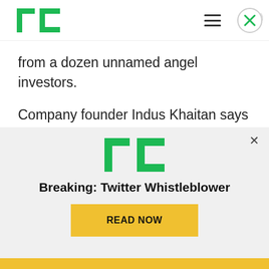[Figure (logo): TechCrunch TC logo in header, green square with white T and C letters]
from a dozen unnamed angel investors.
Company founder Indus Khaitan says that he launched the company last summer pre-COVID, when he recognized that companies were spending tons of money on SaaS subscriptions and he wanted to build a product to give greater visibility into that spending.
[Figure (logo): TechCrunch TC logo in advertisement overlay]
Breaking: Twitter Whistleblower
READ NOW